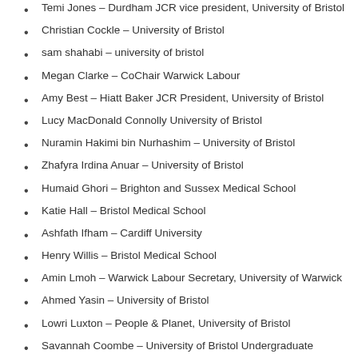Temi Jones – Durdham JCR vice president, University of Bristol
Christian Cockle – University of Bristol
sam shahabi – university of bristol
Megan Clarke – CoChair Warwick Labour
Amy Best – Hiatt Baker JCR President, University of Bristol
Lucy MacDonald Connolly University of Bristol
Nuramin Hakimi bin Nurhashim – University of Bristol
Zhafyra Irdina Anuar – University of Bristol
Humaid Ghori – Brighton and Sussex Medical School
Katie Hall – Bristol Medical School
Ashfath Ifham – Cardiff University
Henry Willis – Bristol Medical School
Amin Lmoh – Warwick Labour Secretary, University of Warwick
Ahmed Yasin – University of Bristol
Lowri Luxton – People & Planet, University of Bristol
Savannah Coombe – University of Bristol Undergraduate